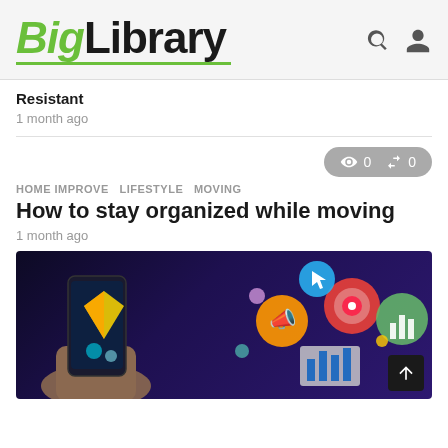BigLibrary
Resistant
1 month ago
0  0
HOME IMPROVE  LIFESTYLE  MOVING
How to stay organized while moving
1 month ago
[Figure (photo): A hand holding a smartphone with colorful marketing/social media icons floating above, including a megaphone, target/bullseye, cursor, bar chart icons, on a dark purple background. A scroll-to-top button is visible in the bottom right corner.]